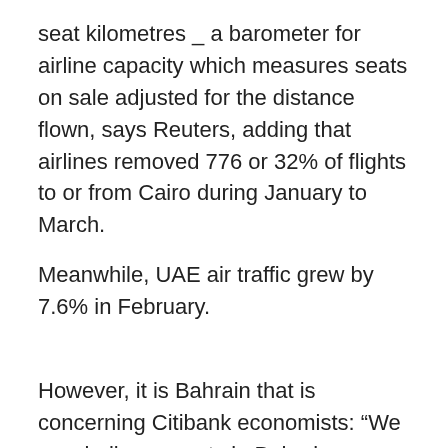seat kilometres _ a barometer for airline capacity which measures seats on sale adjusted for the distance flown, says Reuters, adding that airlines removed 776 or 32% of flights to or from Cairo during January to March.
Meanwhile, UAE air traffic grew by 7.6% in February.
However, it is Bahrain that is concerning Citibank economists: “We now believe events in Bahrain are likely to have an impact on near term economic growth, and have lowered our forecast for 2011 to just 1%."
The U.S. bank expects the tiny Kingdom's growth